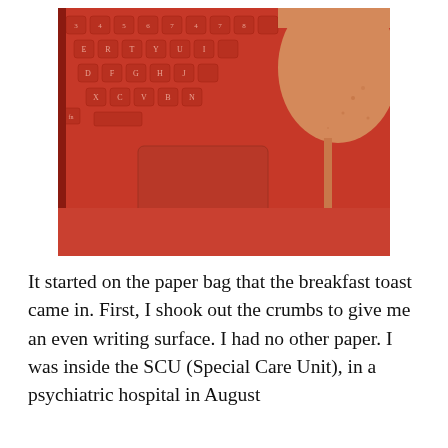[Figure (photo): A close-up photo of a red/coral-colored laptop keyboard (Surface-style) with a wine glass or drinking glass visible in the upper-right corner, shot from above on a reddish-orange surface.]
It started on the paper bag that the breakfast toast came in. First, I shook out the crumbs to give me an even writing surface. I had no other paper. I was inside the SCU (Special Care Unit), in a psychiatric hospital in August